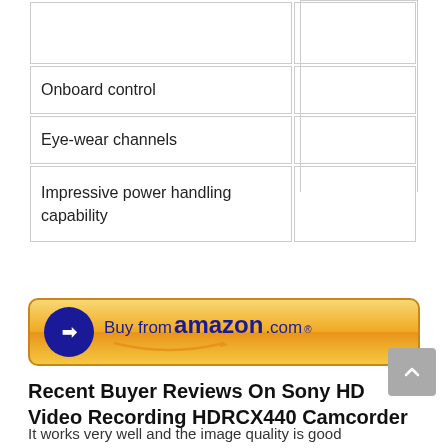| Onboard control |  |
| Eye-wear channels |  |
| Impressive power handling capability |  |
[Figure (other): Buy from amazon.com button — gold/yellow pill-shaped button with dark blue Amazon logo and arrow icon]
Recent Buyer Reviews On Sony HD Video Recording HDRCX440 Camcorder
It works very well and the image quality is good